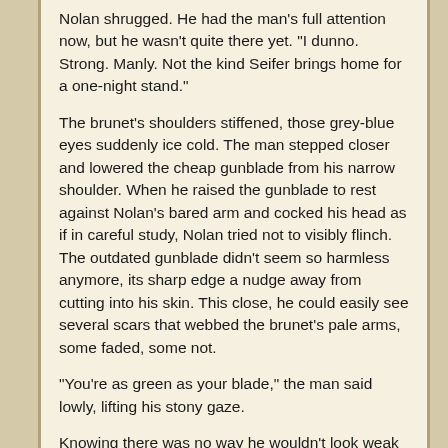Nolan shrugged. He had the man's full attention now, but he wasn't quite there yet. "I dunno. Strong. Manly. Not the kind Seifer brings home for a one-night stand."
The brunet's shoulders stiffened, those grey-blue eyes suddenly ice cold. The man stepped closer and lowered the cheap gunblade from his narrow shoulder. When he raised the gunblade to rest against Nolan's bared arm and cocked his head as if in careful study, Nolan tried not to visibly flinch. The outdated gunblade didn't seem so harmless anymore, its sharp edge a nudge away from cutting into his skin. This close, he could easily see several scars that webbed the brunet's pale arms, some faded, some not.
"You're as green as your blade," the man said lowly, lifting his stony gaze.
Knowing there was no way he wouldn't look weak if he let it end there, Nolan took a step back and brought his blade out in front of him. He felt the clash of their blades and a numbing pain jolt through his arm before he'd even registered the man's movement. Stunned, he